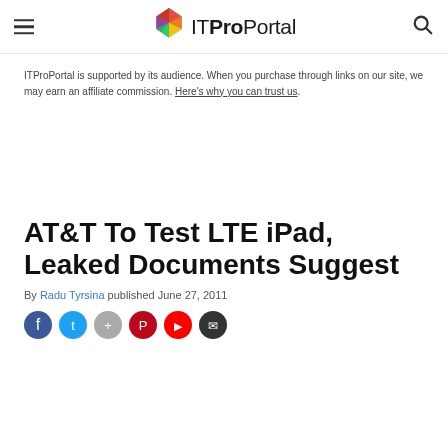ITProPortal
ITProPortal is supported by its audience. When you purchase through links on our site, we may earn an affiliate commission. Here's why you can trust us.
AT&T To Test LTE iPad, Leaked Documents Suggest
By Radu Tyrsina published June 27, 2011